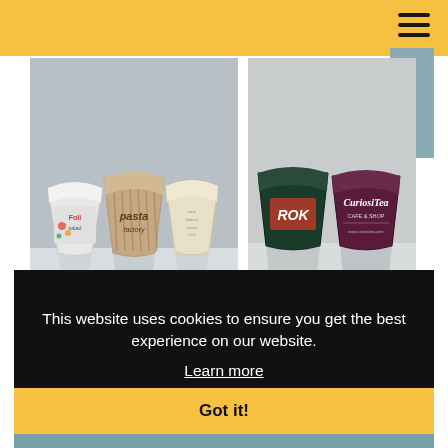[Figure (photo): Yellow top navigation bar with hamburger menu icon (three horizontal lines) on the right side]
[Figure (photo): Left photo panel showing three branded paper cups/pots with various designs including pasta branding on a light gray background]
[Figure (photo): Right photo panel showing two branded paper cups: a dark green cup labeled ROK and a dark purple cup labeled CuriosiTea Cafe & Shop]
This website uses cookies to ensure you get the best experience on our website. Learn more
Got it!